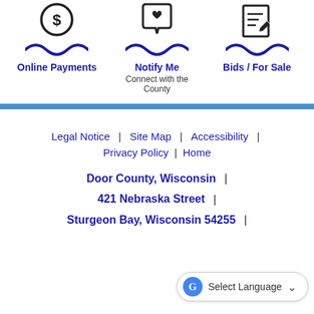[Figure (illustration): Three icons: dollar sign in circle, speech bubble with heart, document with pen; each with blue wave underline]
Online Payments
Notify Me
Bids / For Sale
Connect with the County
Legal Notice | Site Map | Accessibility | Privacy Policy | Home
Door County, Wisconsin |
421 Nebraska Street |
Sturgeon Bay, Wisconsin 54235 |